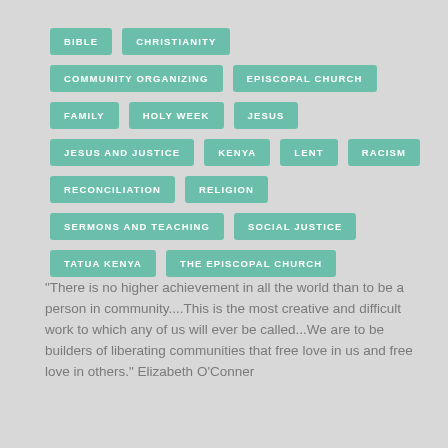BIBLE
CHRISTIANITY
COMMUNITY ORGANIZING
EPISCOPAL CHURCH
FAMILY
HOLY WEEK
JESUS
JESUS AND JUSTICE
KENYA
LENT
RACISM
RECONCILIATION
RELIGION
SERMONS AND TEACHING
SOCIAL JUSTICE
TATUA KENYA
THE EPISCOPAL CHURCH
“There is no higher achievement in all the world than to be a person in community....This is the most creative and difficult work to which any of us will ever be called...We are to be builders of liberating communities that free love in us and free love in others.” Elizabeth O’Conner